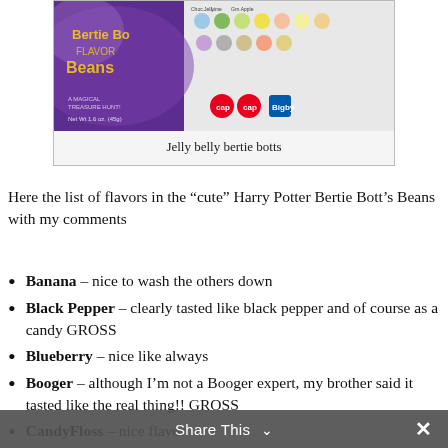[Figure (photo): Photo of Jelly Belly Bertie Bott's Every Flavour Beans candy box packaging, purple with yellow text, showing various jellybean flavors on the box.]
Jelly belly bertie botts
Here the list of flavors in the “cute” Harry Potter Bertie Bott’s Beans with my comments
Banana – nice to wash the others down
Black Pepper – clearly tasted like black pepper and of course as a candy GROSS
Blueberry – nice like always
Booger – although I’m not a Booger expert, my brother said it tasted like the real thing!! GROSS
CandyFloss – nice flavor
Cherry – nice like always
Cinnamon – i don’t think my box contained cinnamon at least I didn’t taste it